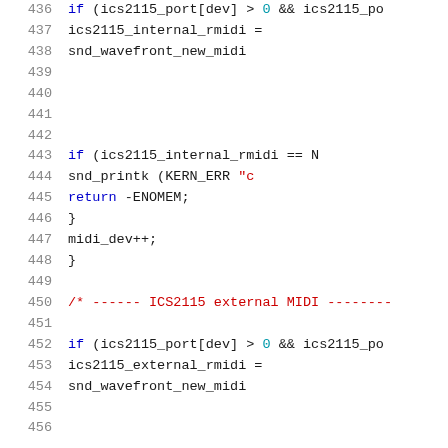[Figure (screenshot): Source code viewer showing C code lines 436-456, with syntax highlighting. Line numbers in gray on left, keywords in blue, strings/comments in red, numbers in teal.]